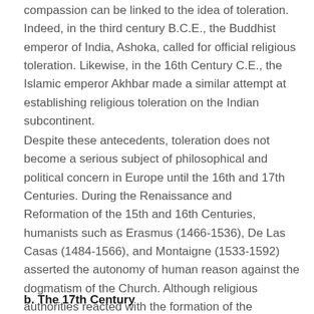compassion can be linked to the idea of toleration. Indeed, in the third century B.C.E., the Buddhist emperor of India, Ashoka, called for official religious toleration. Likewise, in the 16th Century C.E., the Islamic emperor Akhbar made a similar attempt at establishing religious toleration on the Indian subcontinent.
Despite these antecedents, toleration does not become a serious subject of philosophical and political concern in Europe until the 16th and 17th Centuries. During the Renaissance and Reformation of the 15th and 16th Centuries, humanists such as Erasmus (1466-1536), De Las Casas (1484-1566), and Montaigne (1533-1592) asserted the autonomy of human reason against the dogmatism of the Church. Although religious authorities reacted with the formation of the Inquisition and the Index of Forbidden Books, by the 17th Century philosophers were seriously considering the question of toleration.
b. The 17th Century